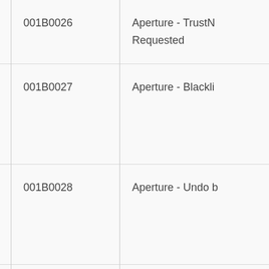| 001B0026 | Aperture - TrustN...
Requested |
| 001B0027 | Aperture - Blackli... |
| 001B0028 | Aperture - Undo b... |
| 001B0029 | Aperture - Fetch ... |
|  |  |